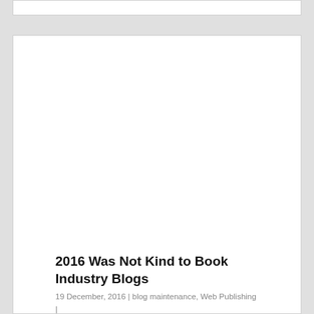2016 Was Not Kind to Book Industry Blogs
19 December, 2016 | blog maintenance, Web Publishing | 16 Comments
When we look back on 2016 it is going to be